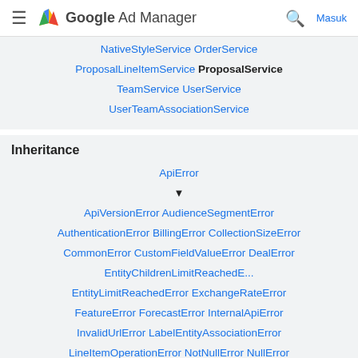Google Ad Manager — Masuk
NativeStyleService OrderService ProposalLineItemService ProposalService TeamService UserService UserTeamAssociationService
Inheritance
ApiError ▼ ApiVersionError AudienceSegmentError AuthenticationError BillingError CollectionSizeError CommonError CustomFieldValueError DealError EntityChildrenLimitReachedE... EntityLimitReachedError ExchangeRateError FeatureError ForecastError InternalApiError InvalidUrlError LabelEntityAssociationError LineItemOperationError NotNullError NullError PackageActionError PackageError ParseError